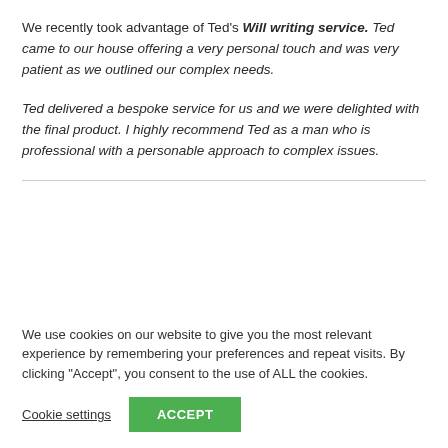We recently took advantage of Ted's Will writing service. Ted came to our house offering a very personal touch and was very patient as we outlined our complex needs.

Ted delivered a bespoke service for us and we were delighted with the final product. I highly recommend Ted as a man who is professional with a personable approach to complex issues.
We use cookies on our website to give you the most relevant experience by remembering your preferences and repeat visits. By clicking "Accept", you consent to the use of ALL the cookies.